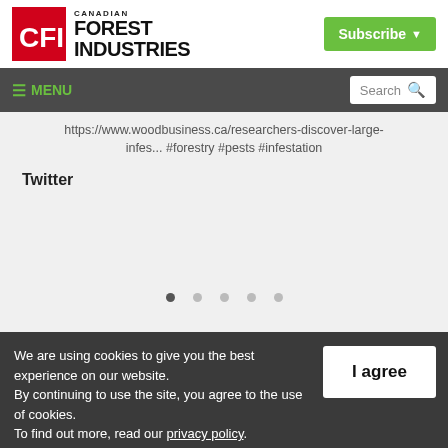[Figure (logo): Canadian Forest Industries logo with red CFI box and black bold text]
[Figure (screenshot): Subscribe button in green]
≡ MENU   Search
https://www.woodbusiness.ca/researchers-discover-large-infes... #forestry #pests #infestation
Twitter
We are using cookies to give you the best experience on our website. By continuing to use the site, you agree to the use of cookies. To find out more, read our privacy policy.